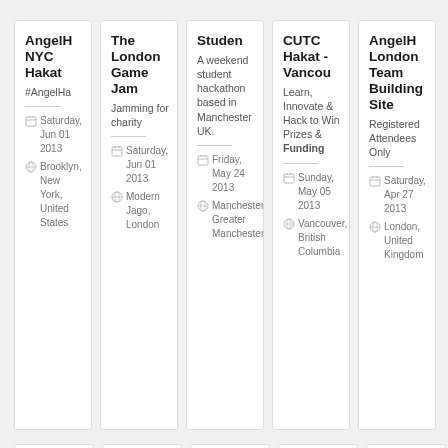AngelH NYC Hakat
#AngelHa
Saturday, Jun 01 2013
Brooklyn, New York, United States
The London Game Jam
Jamming for charity
Saturday, Jun 01 2013
Modern Jago, London
Studen
A weekend student hackathon based in Manchester UK.
Friday, May 24 2013
Manchester, Greater Manchester
CUTC Hakat - Vancouver
Learn, Innovate & Hack to Win Prizes & Funding
Sunday, May 05 2013
Vancouver, British Columbia
AngelH London Team Building Site
Registered Attendees Only
Saturday, Apr 27 2013
London, United Kingdom